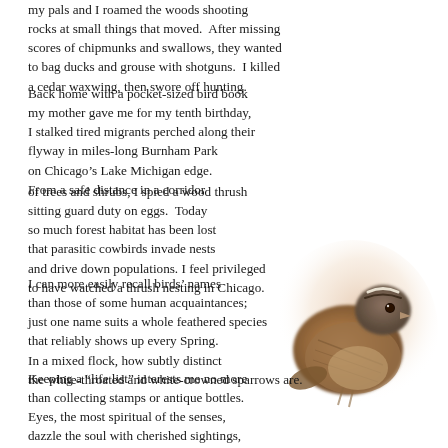my pals and I roamed the woods shooting rocks at small things that moved.  After missing scores of chipmunks and swallows, they wanted to bag ducks and grouse with shotguns.  I killed a cedar waxwing, then swore off hunting.
Back home with a pocket-sized bird book my mother gave me for my tenth birthday, I stalked tired migrants perched along their flyway in miles-long Burnham Park on Chicago’s Lake Michigan edge. From a safe distance in a corridor
of trees and shrubs, I spied a wood thrush sitting guard duty on eggs.  Today so much forest habitat has been lost that parasitic cowbirds invade nests and drive down populations. I feel privileged to have watched a thrush nesting in Chicago.
[Figure (photo): A bird (sparrow) perched, with warm brownish tones, soft-focus background blending into white page.]
I can more easily recall birds’ names than those of some human acquaintances; just one name suits a whole feathered species that reliably shows up every Spring. In a mixed flock, how subtly distinct the white-throated and white-crowned sparrows are.
Keeping a “life list” interests me no more than collecting stamps or antique bottles. Eyes, the most spiritual of the senses, dazzle the soul with cherished sightings, as when indigo buntings fly through sunlight, magically changing from black to bright blue.